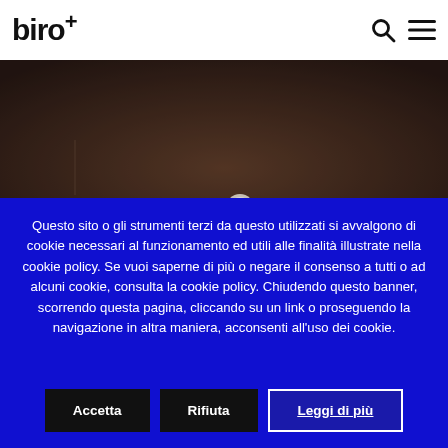biro+
[Figure (photo): Dark brownish-grey sky with a small bright white circle (moon or light source) in the lower center of the image, and a faint vertical line on the left side.]
Questo sito o gli strumenti terzi da questo utilizzati si avvalgono di cookie necessari al funzionamento ed utili alle finalità illustrate nella cookie policy. Se vuoi saperne di più o negare il consenso a tutti o ad alcuni cookie, consulta la cookie policy. Chiudendo questo banner, scorrendo questa pagina, cliccando su un link o proseguendo la navigazione in altra maniera, acconsenti all'uso dei cookie.
Accetta
Rifiuta
Leggi di più